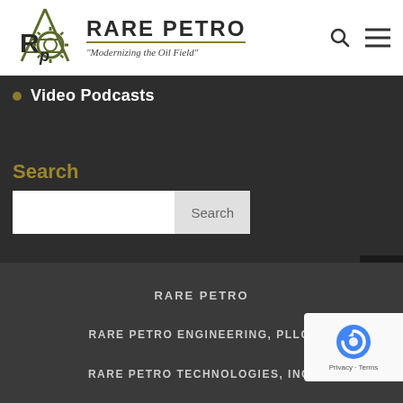[Figure (logo): Rare Petro logo with gear/derrick icon, text 'RARE PETRO' and tagline 'Modernizing the Oil Field']
Video Podcasts
Search
Search [input box with Search button]
RARE PETRO
RARE PETRO ENGINEERING, PLLC.
RARE PETRO TECHNOLOGIES, INC.